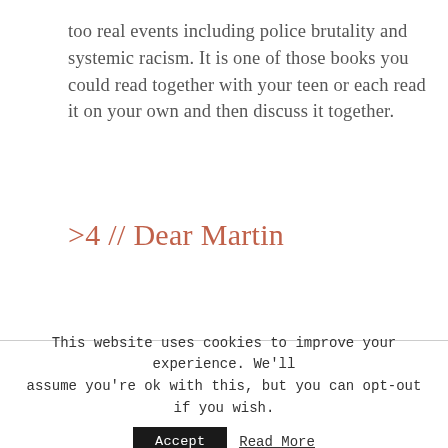too real events including police brutality and systemic racism. It is one of those books you could read together with your teen or each read it on your own and then discuss it together.
>4 // Dear Martin
This website uses cookies to improve your experience. We'll assume you're ok with this, but you can opt-out if you wish.